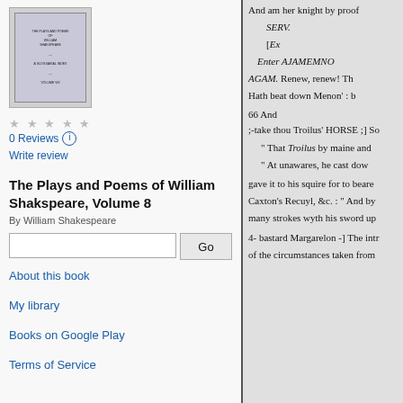[Figure (illustration): Book cover thumbnail for The Plays and Poems of William Shakspeare, Volume 8]
0 Reviews
Write review
The Plays and Poems of William Shakspeare, Volume 8
By William Shakespeare
Go
About this book
My library
Books on Google Play
Terms of Service
And am her knight by proof
SERV.
[Ex
Enter AJAMEMNO
AGAM. Renew, renew! Th
Hath beat down Menon' : b
66 And
;-take thou Troilus' HORSE ;] So
" That Troilus by maine and
" At unawares, he cast dow
gave it to his squire for to beare
Caxton's Recuyl, &c. : " And by
many strokes wyth his sword up
4- bastard Margarelon -] The intr
of the circumstances taken from